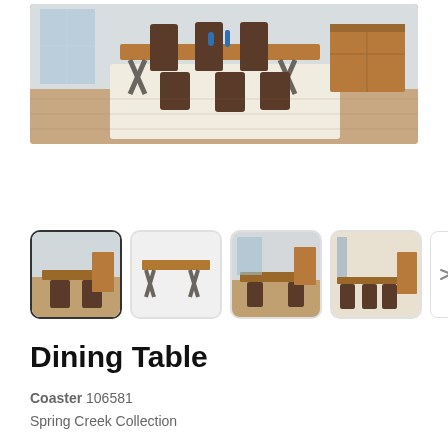[Figure (photo): Main product photo showing a dining room set with a rectangular wood table with metal X-frame base, surrounded by dark brown upholstered chairs, on a cream rug, with a wood sideboard in background, near large windows with city view]
[Figure (photo): Thumbnail 1: Same dining room set from a wider angle, selected/active thumbnail with dark border]
[Figure (photo): Thumbnail 2: Close-up of the dining table alone showing wood top and metal X-frame base]
[Figure (photo): Thumbnail 3: Dining room set from a different angle near windows]
[Figure (photo): Thumbnail 4: Dining room set from another angle showing table and chairs]
Dining Table
Coaster 106581
Spring Creek Collection